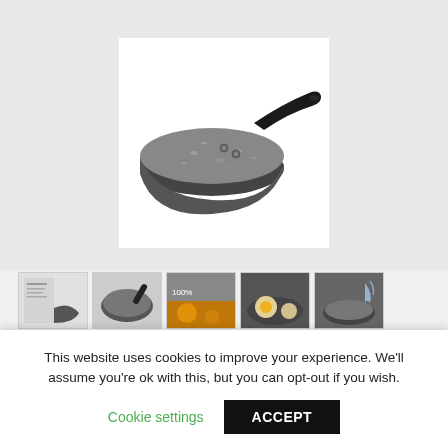[Figure (photo): Grey granite-effect non-stick frying pan with dark handle, viewed from above at an angle on white background]
[Figure (photo): Row of 5 product thumbnail images showing the Tower Cerastone frying pan from different angles and in use]
Tower Cerastone T81222 Forged Frying Pan with Non-Stick Coating and Soft Touch Handles, 20cm, Graphite
★★★★½ (444)  £14.86  (as of August 20, 2022 02:34 GMT +00:00 - More info)
This website uses cookies to improve your experience. We'll assume you're ok with this, but you can opt-out if you wish.
Cookie settings   ACCEPT